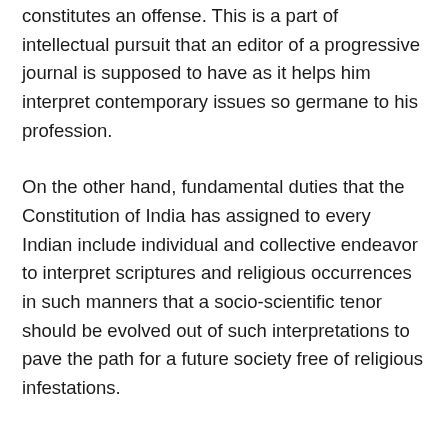constitutes an offense. This is a part of intellectual pursuit that an editor of a progressive journal is supposed to have as it helps him interpret contemporary issues so germane to his profession.
On the other hand, fundamental duties that the Constitution of India has assigned to every Indian include individual and collective endeavor to interpret scriptures and religious occurrences in such manners that a socio-scientific tenor should be evolved out of such interpretations to pave the path for a future society free of religious infestations.